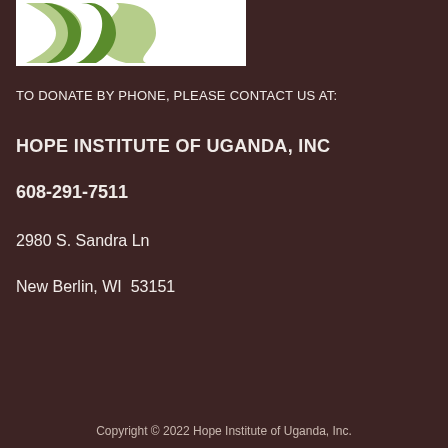[Figure (logo): Hope Institute of Uganda logo — white background with green abstract X/ribbon shape]
TO DONATE BY PHONE, PLEASE CONTACT US AT:
HOPE INSTITUTE OF UGANDA, INC
608-291-7511
2980 S. Sandra Ln
New Berlin, WI  53151
Copyright © 2022 Hope Institute of Uganda, Inc.